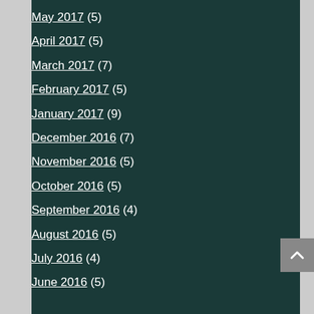May 2017 (5)
April 2017 (5)
March 2017 (7)
February 2017 (5)
January 2017 (9)
December 2016 (7)
November 2016 (5)
October 2016 (5)
September 2016 (4)
August 2016 (5)
July 2016 (4)
June 2016 (5)